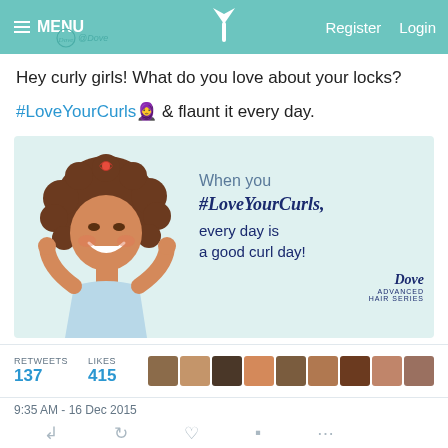MENU | Register | Login
Hey curly girls! What do you love about your locks?
#LoveYourCurls 🧑 & flaunt it every day.
[Figure (illustration): Dove Advanced Hair Series promotional image showing an animated curly-haired girl with text: 'When you #LoveYourCurls, every day is a good curl day!' with Dove logo]
RETWEETS 137  LIKES 415
9:35 AM - 16 Dec 2015